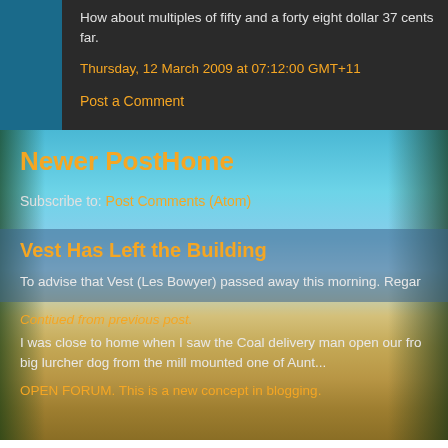How about multiples of fifty and a forty eight dollar 37 cents far.
Thursday, 12 March 2009 at 07:12:00 GMT+11
Post a Comment
Newer Post
Home
Subscribe to: Post Comments (Atom)
Vest Has Left the Building
To advise that Vest (Les Bowyer) passed away this morning. Regar
Contiued from previous post.
I was close to home when I saw the Coal delivery man open our fro big lurcher dog from the mill mounted one of Aunt...
OPEN FORUM. This is a new concept in blogging.